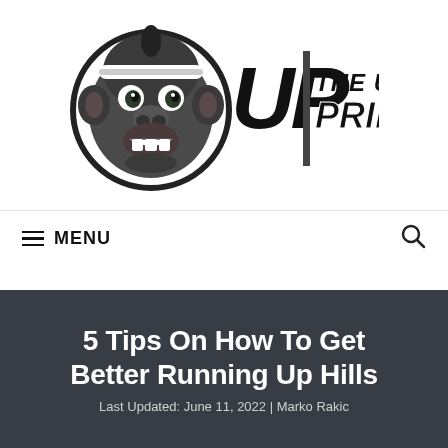[Figure (logo): The Ultimate Primate logo — gorilla mascot wearing a headband on the left, large stylized 'UP' letters with a vertical bar, and 'THE ULTIMATE PRIMATE' text in bold italic font on the right]
≡ MENU   🔍
5 Tips On How To Get Better Running Up Hills
Last Updated: June 11, 2022 | Marko Rakic